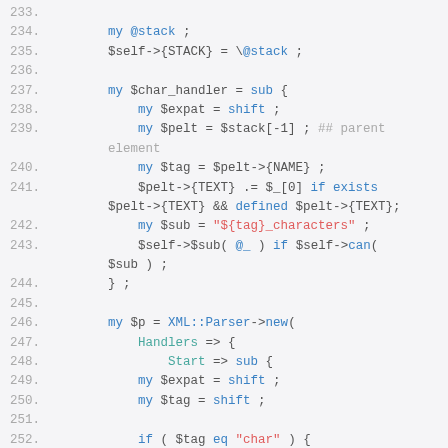[Figure (screenshot): Perl source code listing with line numbers 233-254, showing XML parser setup with character handlers, stack usage, and XML::Parser instantiation. Syntax highlighted: keywords in blue, strings in red, comments in gray.]